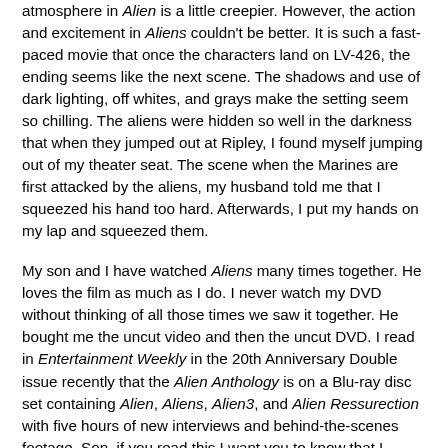atmosphere in Alien is a little creepier. However, the action and excitement in Aliens couldn't be better. It is such a fast-paced movie that once the characters land on LV-426, the ending seems like the next scene. The shadows and use of dark lighting, off whites, and grays make the setting seem so chilling. The aliens were hidden so well in the darkness that when they jumped out at Ripley, I found myself jumping out of my theater seat. The scene when the Marines are first attacked by the aliens, my husband told me that I squeezed his hand too hard. Afterwards, I put my hands on my lap and squeezed them.
My son and I have watched Aliens many times together. He loves the film as much as I do. I never watch my DVD without thinking of all those times we saw it together. He bought me the uncut video and then the uncut DVD. I read in Entertainment Weekly in the 20th Anniversary Double issue recently that the Alien Anthology is on a Blu-ray disc set containing Alien, Aliens, Alien3, and Alien Ressurection with five hours of new interviews and behind-the-scenes footage. Son, if you read this I want you to know that I would love this Blu-ray set. It sure would make a nice Christmas present this